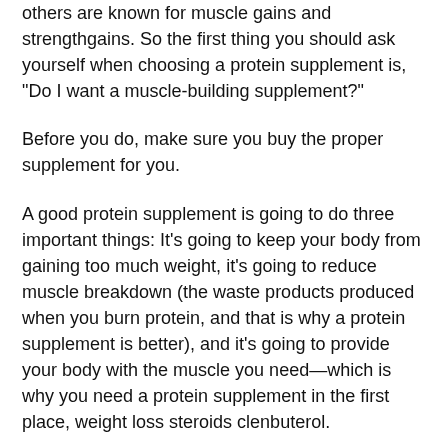others are known for muscle gains and strengthgains. So the first thing you should ask yourself when choosing a protein supplement is, "Do I want a muscle-building supplement?"
Before you do, make sure you buy the proper supplement for you.
A good protein supplement is going to do three important things: It's going to keep your body from gaining too much weight, it's going to reduce muscle breakdown (the waste products produced when you burn protein, and that is why a protein supplement is better), and it's going to provide your body with the muscle you need—which is why you need a protein supplement in the first place, weight loss steroids clenbuterol.
So whether a protein supplement is suitable for you depends entirely on when it was